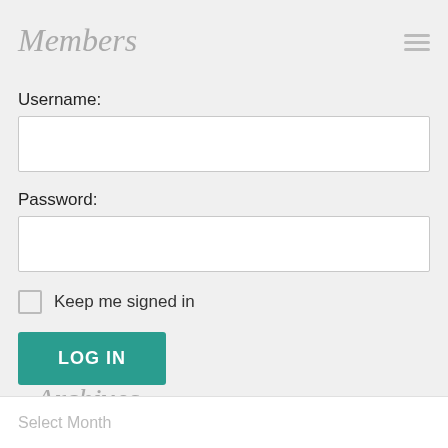Members
Username:
[Figure (other): Empty text input field for username]
Password:
[Figure (other): Empty text input field for password]
Keep me signed in
LOG IN
Register
Lost Password
Archives
Select Month